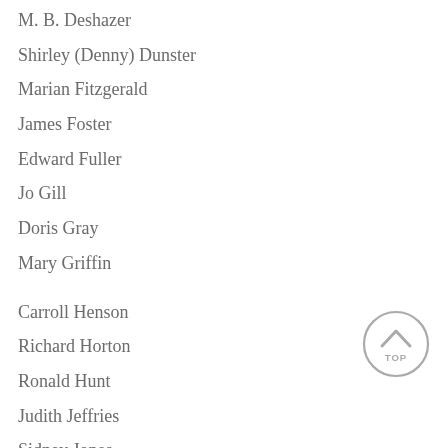M. B. Deshazer
Shirley (Denny) Dunster
Marian Fitzgerald
James Foster
Edward Fuller
Jo Gill
Doris Gray
Mary Griffin
Carroll Henson
Richard Horton
Ronald Hunt
Judith Jeffries
Sidney Jones
[Figure (other): Circular TOP button with upward chevron arrow]